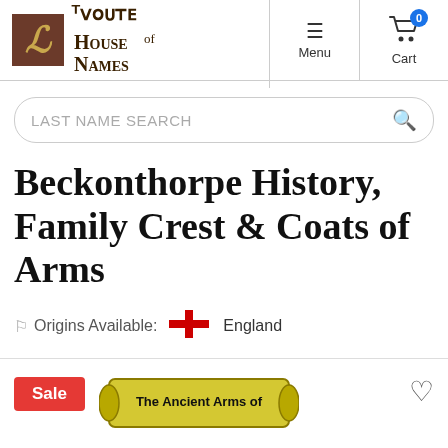[Figure (logo): House of Names logo with golden H letter on brown background and blackletter text]
Menu  Cart 0
LAST NAME SEARCH
Beckonthorpe History, Family Crest & Coats of Arms
Origins Available:  England
Sale
[Figure (illustration): Scroll banner reading 'The Ancient Arms of']